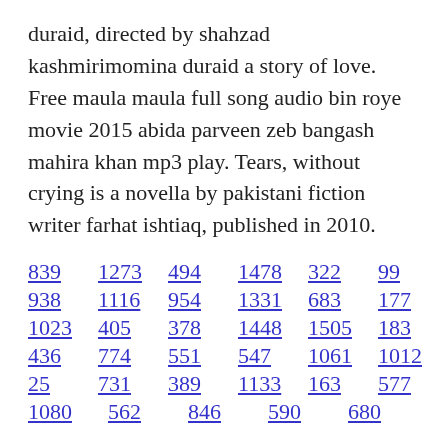duraid, directed by shahzad kashmirimomina duraid a story of love. Free maula maula full song audio bin roye movie 2015 abida parveen zeb bangash mahira khan mp3 play. Tears, without crying is a novella by pakistani fiction writer farhat ishtiaq, published in 2010.
839  1273  494  1478  322  99
938  1116  954  1331  683  177
1023  405  378  1448  1505  183
436  774  551  547  1061  1012
25  731  389  1133  163  577
1080  562  846  590  680